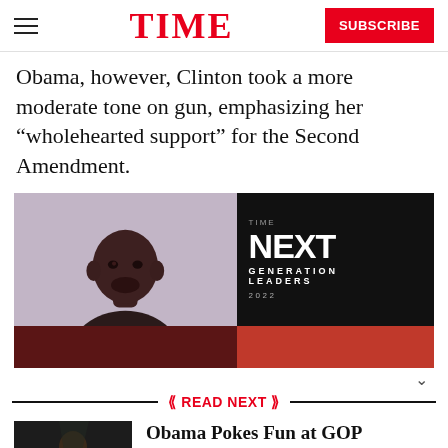TIME | SUBSCRIBE
Obama, however, Clinton took a more moderate tone on gun, emphasizing her “wholehearted support” for the Second Amendment.
[Figure (photo): TIME Next Generation Leaders 2022 advertisement showing a young Black man and promotional text on a dark background]
READ NEXT
[Figure (photo): Thumbnail photo of Obama at a podium]
Obama Pokes Fun at GOP Candidates' Complaints Over CNBC Debate